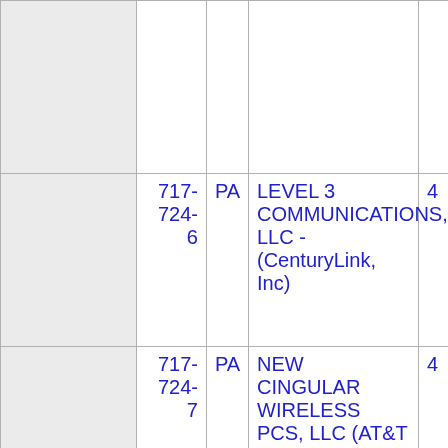| (col1) | (col2) | State | Company Name | (col5) |
| --- | --- | --- | --- | --- |
|  |  |  |  |  |
| 717-724-6 | PA | LEVEL 3 COMMUNICATIONS, LLC - (CenturyLink, Inc) | 4 |
| 717-724-7 | PA | NEW CINGULAR WIRELESS PCS, LLC (AT&T Wireless) | 4 |